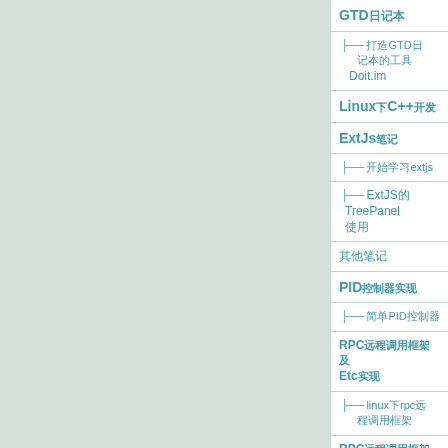GTD日记本
├ 打造GTD日记本的工具
Doit.im
Linux下C++开发
ExtJs笔记
├ 开始学习extjs
ExtJS的TreePanel使用
其他笔记
PID控制器实现
├ 简单PID控制器
RPC远程调用框架及Etc实现
├ linux下rpc远程调用框架
RPC远程调用框架及Etc实现